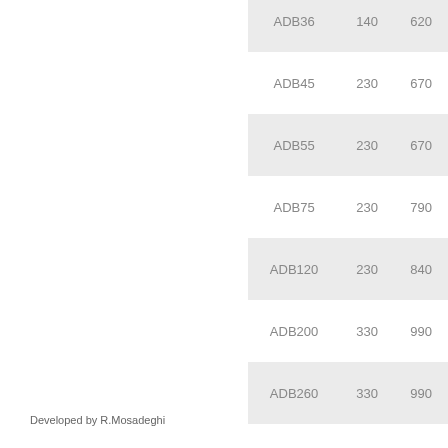| Model | Col2 | Col3 |
| --- | --- | --- |
| ADB36 | 140 | 620 |
| ADB45 | 230 | 670 |
| ADB55 | 230 | 670 |
| ADB75 | 230 | 790 |
| ADB120 | 230 | 840 |
| ADB200 | 330 | 990 |
| ADB260 | 330 | 990 |
Developed by R.Mosadeghi